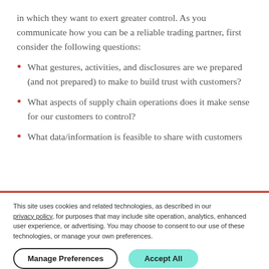in which they want to exert greater control. As you communicate how you can be a reliable trading partner, first consider the following questions:
What gestures, activities, and disclosures are we prepared (and not prepared) to make to build trust with customers?
What aspects of supply chain operations does it make sense for our customers to control?
What data/information is feasible to share with customers
This site uses cookies and related technologies, as described in our privacy policy, for purposes that may include site operation, analytics, enhanced user experience, or advertising. You may choose to consent to our use of these technologies, or manage your own preferences.
Manage Preferences   Accept All